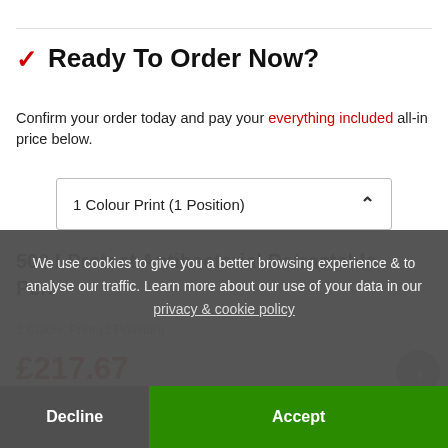Ready To Order Now?
Confirm your order today and pay your everything included all-in price below.
1 Colour Print (1 Position)
500 I-Protect Antibacterial Retractable Pen
1 Colour Print (1 Position)
£217.67
We use cookies to give you a better browsing experience & to analyse our traffic. Learn more about our use of your data in our privacy & cookie policy
Decline
Accept